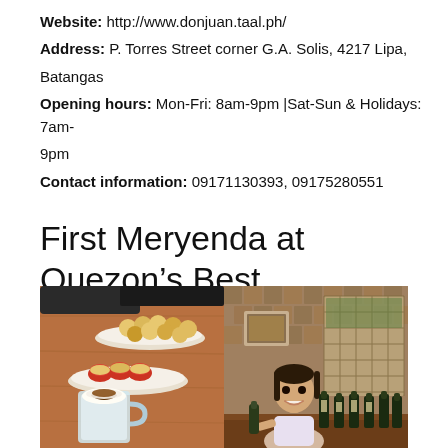Website: http://www.donjuan.taal.ph/
Address: P. Torres Street corner G.A. Solis, 4217 Lipa, Batangas
Opening hours: Mon-Fri: 8am-9pm |Sat-Sun & Holidays: 7am-9pm
Contact information: 09171130393, 09175280551
First Meryenda at Quezon’s Best
[Figure (photo): Two side-by-side photos: left shows Filipino snack food including muffins/cupcakes on a plate and a dessert drink in a glass mug on a wooden table; right shows a smiling woman sitting at a table with wine bottles in a bamboo-walled restaurant interior.]